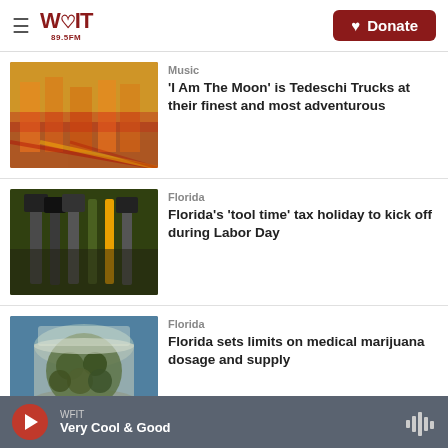WFIT 89.5FM | Donate
[Figure (screenshot): Photo of a band performing on stage with colorful circus-style backdrop]
Music
'I Am The Moon' is Tedeschi Trucks at their finest and most adventurous
[Figure (screenshot): Photo of gardening tools including shovels and hand tools]
Florida
Florida's 'tool time' tax holiday to kick off during Labor Day
[Figure (screenshot): Photo of a glass jar filled with medical marijuana]
Florida
Florida sets limits on medical marijuana dosage and supply
WFIT | Very Cool & Good